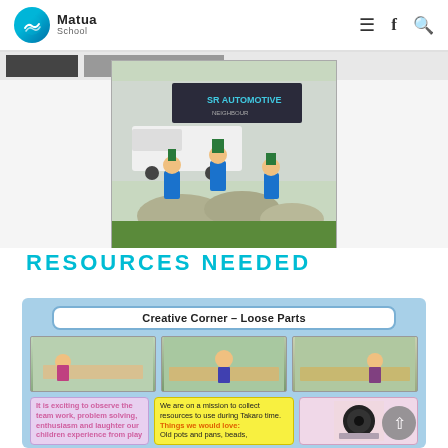Matua School
[Figure (photo): Three boys in blue school uniforms standing on large rocks outdoors, each holding green plants, in front of an SR Automotive sign and a white van]
RESOURCES NEEDED
[Figure (infographic): Creative Corner - Loose Parts infographic on blue background showing three photos of children playing with loose parts outdoors, with text boxes describing the activity and resources needed including: 'It is exciting to observe the team work, problem solving, enthusiasm and laughter our children experience from play' and 'We are on a mission to collect resources to use during Takaro time. Things we would love: Old pots and pans, beads,']